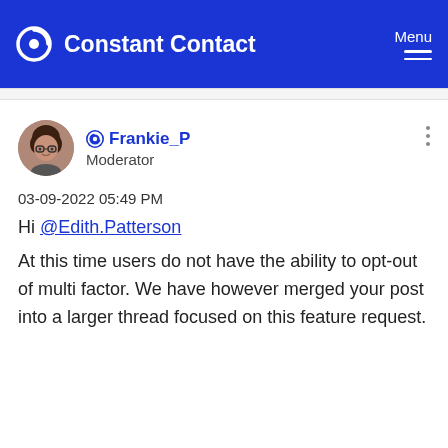Constant Contact | Menu
[Figure (photo): Avatar of user Frankie_P, a woman with glasses and curly hair]
Frankie_P
Moderator
03-09-2022 05:49 PM
Hi @Edith.Patterson
At this time users do not have the ability to opt-out of multi factor. We have however merged your post into a larger thread focused on this feature request.